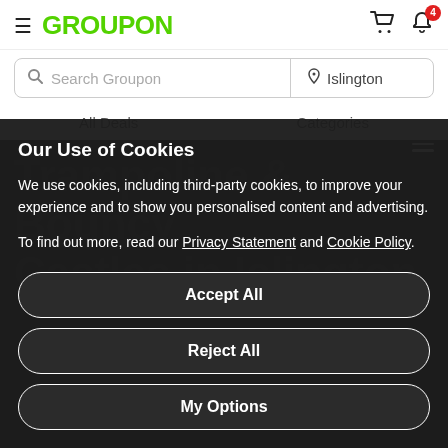GROUPON
Search Groupon | Islington
All Deals   Categories
Our Use of Cookies
We use cookies, including third-party cookies, to improve your experience and to show you personalised content and advertising.
To find out more, read our Privacy Statement and Cookie Policy.
Accept All
Reject All
My Options